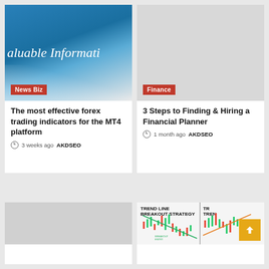[Figure (photo): Blue sky image with white text overlay reading 'aluable Informati' (cropped), News Biz badge]
The most effective forex trading indicators for the MT4 platform
3 weeks ago  AKDSEO
[Figure (photo): Gray placeholder image with Finance badge]
3 Steps to Finding & Hiring a Financial Planner
1 month ago  AKDSEO
[Figure (photo): Gray placeholder image bottom left]
[Figure (screenshot): Trend Line Breakout Strategy chart image with orange back-to-top button]